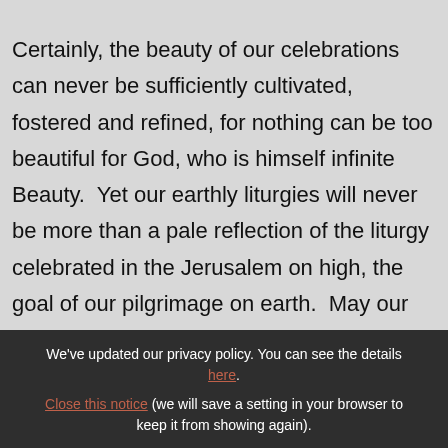Certainly, the beauty of our celebrations can never be sufficiently cultivated, fostered and refined, for nothing can be too beautiful for God, who is himself infinite Beauty.  Yet our earthly liturgies will never be more than a pale reflection of the liturgy celebrated in the Jerusalem on high, the goal of our pilgrimage on earth.  May our own celebrations nonetheless resemble that liturgy as closely as possible and grant us a foretaste of it!
We've updated our privacy policy. You can see the details here. Close this notice (we will save a setting in your browser to keep it from showing again).